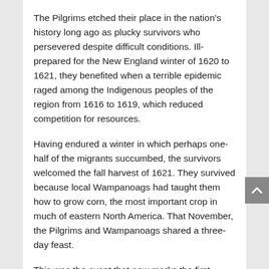The Pilgrims etched their place in the nation's history long ago as plucky survivors who persevered despite difficult conditions. Ill-prepared for the New England winter of 1620 to 1621, they benefited when a terrible epidemic raged among the Indigenous peoples of the region from 1616 to 1619, which reduced competition for resources.
Having endured a winter in which perhaps one-half of the migrants succumbed, the survivors welcomed the fall harvest of 1621. They survived because local Wampanoags had taught them how to grow corn, the most important crop in much of eastern North America. That November, the Pilgrims and Wampanoags shared a three-day feast.
This was the event that now marks the first American day of Thanksgiving, even though many Indigenous